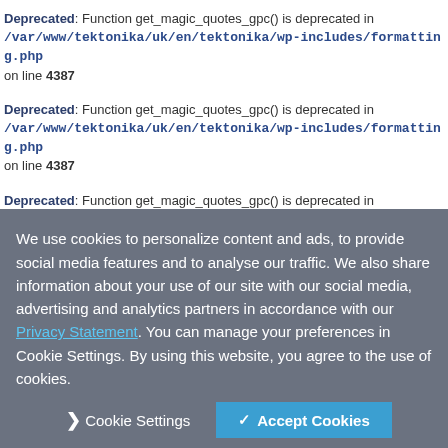Deprecated: Function get_magic_quotes_gpc() is deprecated in /var/www/tektonika/uk/en/tektonika/wp-includes/formatting.php on line 4387
Deprecated: Function get_magic_quotes_gpc() is deprecated in /var/www/tektonika/uk/en/tektonika/wp-includes/formatting.php on line 4387
Deprecated: Function get_magic_quotes_gpc() is deprecated in /var/www/tektonika/uk/en/tektonika/wp-includes/formatting.php on line 4387
Deprecated: Function get_magic_quotes_gpc() is deprecated in
We use cookies to personalize content and ads, to provide social media features and to analyse our traffic. We also share information about your use of our site with our social media, advertising and analytics partners in accordance with our Privacy Statement. You can manage your preferences in Cookie Settings. By using this website, you agree to the use of cookies.
Cookie Settings   Accept Cookies